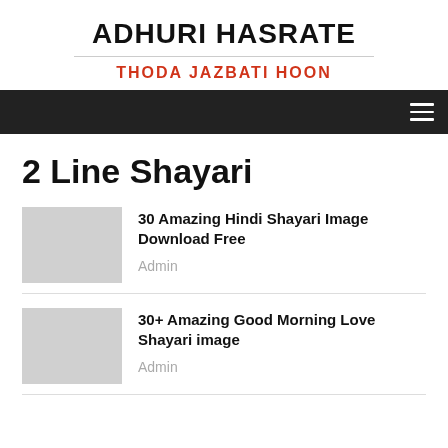ADHURI HASRATE
THODA JAZBATI HOON
2 Line Shayari
30 Amazing Hindi Shayari Image Download Free
Admin
30+ Amazing Good Morning Love Shayari image
Admin